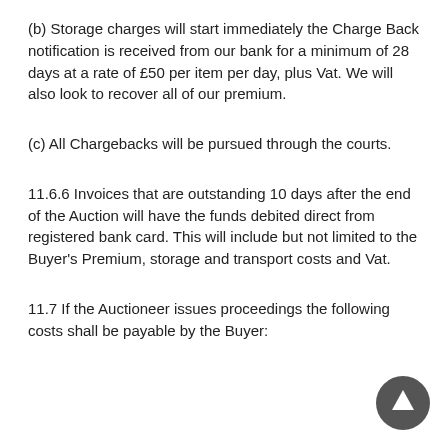(b) Storage charges will start immediately the Charge Back notification is received from our bank for a minimum of 28 days at a rate of £50 per item per day, plus Vat. We will also look to recover all of our premium.
(c) All Chargebacks will be pursued through the courts.
11.6.6 Invoices that are outstanding 10 days after the end of the Auction will have the funds debited direct from registered bank card. This will include but not limited to the Buyer's Premium, storage and transport costs and Vat.
11.7 If the Auctioneer issues proceedings the following costs shall be payable by the Buyer:
[Figure (other): Circular scroll-up button with upward arrow icon]